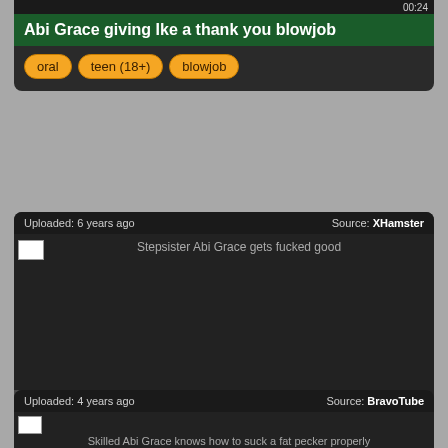00:24
Abi Grace giving Ike a thank you blowjob
oral
teen (18+)
blowjob
Uploaded: 6 years ago   Source: XHamster
[Figure (screenshot): Video thumbnail placeholder for Stepsister Abi Grace gets fucked good]
08:00
Stepsister Abi Grace gets fucked good
stroking
oral
fucking
high definition
hardcore
Uploaded: 4 years ago   Source: BravoTube
[Figure (screenshot): Video thumbnail placeholder for Skilled Abi Grace knows how to suck a fat pecker properly]
Skilled Abi Grace knows how to suck a fat pecker properly